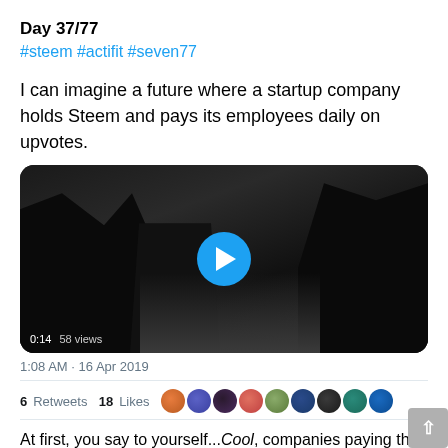Day 37/77
#steem #actifit #seven77
I can imagine a future where a startup company holds Steem and pays its employees daily on upvotes.
[Figure (screenshot): Dark video thumbnail showing silhouetted figures with a circular blue play button in the center. Bottom left shows '0:14' and '58 views'.]
1:08 AM · 16 Apr 2019
6 Retweets  18 Likes
At first, you say to yourself...Cool, companies paying their employees with upvotes. And you read that over a few times...